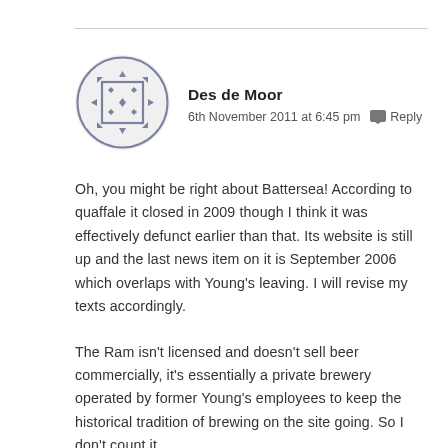[Figure (illustration): Circular avatar icon with a geometric pattern: a square with diamond shapes and arrows pointing outward in cardinal and diagonal directions, rendered in a muted blue-grey color.]
Des de Moor
6th November 2011 at 6:45 pm  Reply
Oh, you might be right about Battersea! According to quaffale it closed in 2009 though I think it was effectively defunct earlier than that. Its website is still up and the last news item on it is September 2006 which overlaps with Young's leaving. I will revise my texts accordingly.
The Ram isn't licensed and doesn't sell beer commercially, it's essentially a private brewery operated by former Young's employees to keep the historical tradition of brewing on the site going. So I don't count it.